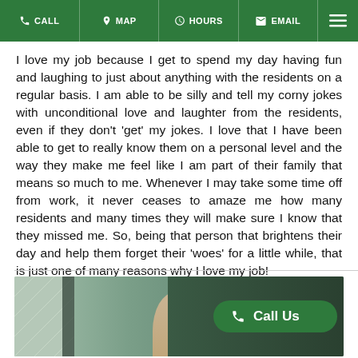CALL | MAP | HOURS | EMAIL
I love my job because I get to spend my day having fun and laughing to just about anything with the residents on a regular basis. I am able to be silly and tell my corny jokes with unconditional love and laughter from the residents, even if they don't 'get' my jokes. I love that I have been able to get to really know them on a personal level and the way they make me feel like I am part of their family that means so much to me. Whenever I may take some time off from work, it never ceases to amaze me how many residents and many times they will make sure I know that they missed me. So, being that person that brightens their day and help them forget their 'woes' for a little while, that is just one of many reasons why I love my job!
[Figure (photo): Photo of a person (blonde woman) in an office setting with geometric patterned items visible, overlaid with a green 'Call Us' button with a phone icon.]